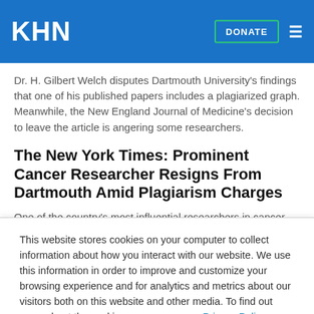KHN
Dr. H. Gilbert Welch disputes Dartmouth University's findings that one of his published papers includes a plagiarized graph. Meanwhile, the New England Journal of Medicine's decision to leave the article is angering some researchers.
The New York Times: Prominent Cancer Researcher Resigns From Dartmouth Amid Plagiarism Charges
One of the country's most influential researchers in cancer
This website stores cookies on your computer to collect information about how you interact with our website. We use this information in order to improve and customize your browsing experience and for analytics and metrics about our visitors both on this website and other media. To find out more about the cookies we use, see our Privacy Policy.